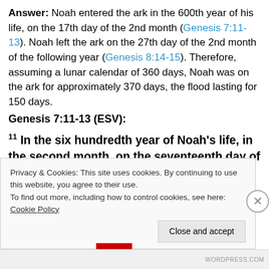Answer: Noah entered the ark in the 600th year of his life, on the 17th day of the 2nd month (Genesis 7:11-13). Noah left the ark on the 27th day of the 2nd month of the following year (Genesis 8:14-15). Therefore, assuming a lunar calendar of 360 days, Noah was on the ark for approximately 370 days, the flood lasting for 150 days.
Genesis 7:11-13 (ESV):
11 In the six hundredth year of Noah's life, in the second month, on the seventeenth day of the month, on that day all the fountains of the great deep burst
Privacy & Cookies: This site uses cookies. By continuing to use this website, you agree to their use.
To find out more, including how to control cookies, see here: Cookie Policy
WORDPRESS.COM